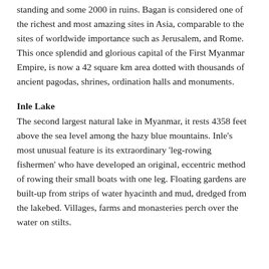standing and some 2000 in ruins. Bagan is considered one of the richest and most amazing sites in Asia, comparable to the sites of worldwide importance such as Jerusalem, and Rome. This once splendid and glorious capital of the First Myanmar Empire, is now a 42 square km area dotted with thousands of ancient pagodas, shrines, ordination halls and monuments.
Inle Lake
The second largest natural lake in Myanmar, it rests 4358 feet above the sea level among the hazy blue mountains. Inle's most unusual feature is its extraordinary 'leg-rowing fishermen' who have developed an original, eccentric method of rowing their small boats with one leg. Floating gardens are built-up from strips of water hyacinth and mud, dredged from the lakebed. Villages, farms and monasteries perch over the water on stilts.